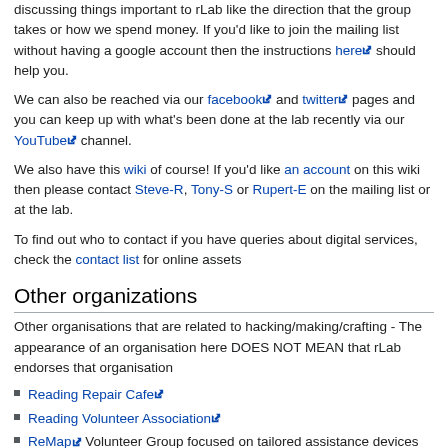discussing things important to rLab like the direction that the group takes or how we spend money. If you'd like to join the mailing list without having a google account then the instructions here should help you.
We can also be reached via our facebook and twitter pages and you can keep up with what's been done at the lab recently via our YouTube channel.
We also have this wiki of course! If you'd like an account on this wiki then please contact Steve-R, Tony-S or Rupert-E on the mailing list or at the lab.
To find out who to contact if you have queries about digital services, check the contact list for online assets
Other organizations
Other organisations that are related to hacking/making/crafting - The appearance of an organisation here DOES NOT MEAN that rLab endorses that organisation
Reading Repair Cafe
Reading Volunteer Association
ReMap Volunteer Group focused on tailored assistance devices for those with disabilities.
Men's Sheds are setting up in Reading
The Workers' Educational Association (WEA) is a charity and the